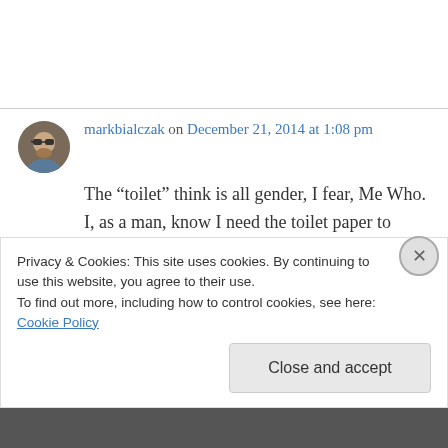markbialczak on December 21, 2014 at 1:08 pm
The “toilet” think is all gender, I fear, Me Who. I, as a man, know I need the toilet paper to come from the back of the roll. I don’t know why I want it that way, but I really, really, really want it that way. I do know that I wish, wish, wish with all my
Privacy & Cookies: This site uses cookies. By continuing to use this website, you agree to their use.
To find out more, including how to control cookies, see here: Cookie Policy
Close and accept